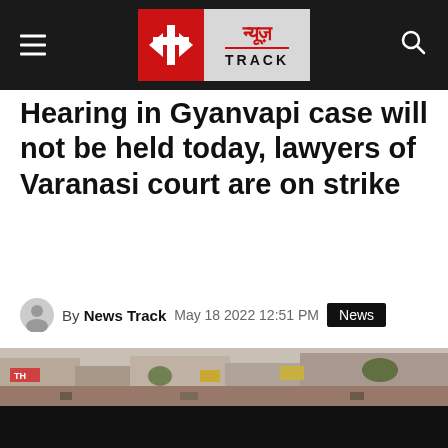News Track — न्यूज़ TRACK
Hearing in Gyanvapi case will not be held today, lawyers of Varanasi court are on strike
By News Track   May 18 2022 12:51 PM   News
[Figure (photo): Street scene photo strip showing a busy Indian city street with shops and banners]
[Figure (photo): Dark background / lower portion of page]